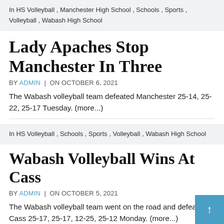In HS Volleyball , Manchester High School , Schools , Sports , Volleyball , Wabash High School
Lady Apaches Stop Manchester In Three
BY ADMIN | ON OCTOBER 6, 2021
The Wabash volleyball team defeated Manchester 25-14, 25-22, 25-17 Tuesday. (more...)
In HS Volleyball , Schools , Sports , Volleyball , Wabash High School
Wabash Volleyball Wins At Cass
BY ADMIN | ON OCTOBER 5, 2021
The Wabash volleyball team went on the road and defeated Cass 25-17, 25-17, 12-25, 25-12 Monday. (more...)